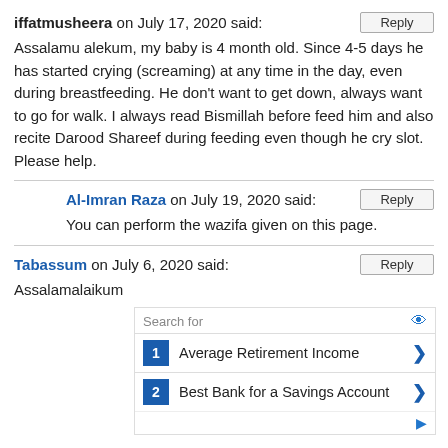iffatmusheera on July 17, 2020 said:
Assalamu alekum, my baby is 4 month old. Since 4-5 days he has started crying (screaming) at any time in the day, even during breastfeeding. He don't want to get down, always want to go for walk. I always read Bismillah before feed him and also recite Darood Shareef during feeding even though he cry slot. Please help.
Al-Imran Raza on July 19, 2020 said:
You can perform the wazifa given on this page.
Tabassum on July 6, 2020 said:
Assalamalaikum
[Figure (screenshot): Advertisement widget: Search for - 1. Average Retirement Income, 2. Best Bank for a Savings Account]